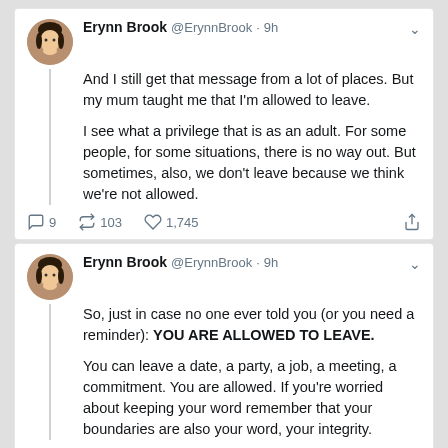[Figure (screenshot): Screenshot of two tweets by Erynn Brook (@ErynnBrook). First tweet (9h): 'And I still get that message from a lot of places. But my mum taught me that I'm allowed to leave. I see what a privilege that is as an adult. For some people, for some situations, there is no way out. But sometimes, also, we don't leave because we think we're not allowed.' with 9 replies, 103 retweets, 1,745 likes. Second tweet (9h): 'So, just in case no one ever told you (or you need a reminder): YOU ARE ALLOWED TO LEAVE. You can leave a date, a party, a job, a meeting, a commitment. You are allowed. If you're worried about keeping your word remember that your boundaries are also your word, your integrity.' with 23 replies, 1,233 retweets, 5,192 likes. Third tweet partially visible at bottom.]